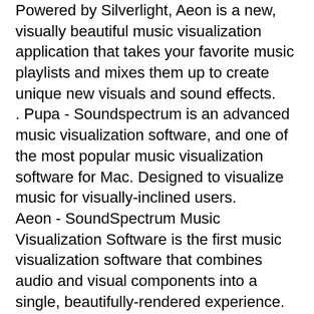Powered by Silverlight, Aeon is a new, visually beautiful music visualization application that takes your favorite music playlists and mixes them up to create unique new visuals and sound effects.
. Pupa - Soundspectrum is an advanced music visualization software, and one of the most popular music visualization software for Mac. Designed to visualize music for visually-inclined users.
Aeon - SoundSpectrum Music Visualization Software is the first music visualization software that combines audio and visual components into a single, beautifully-rendered experience.
Aeon - SoundSpectrum Music Visualization Software
LASERS have come a long way, but there are still limitations to them, and one of those limitations is the amount of visual information which can be conveyed in the form of light. However, lasers can be used to illuminate